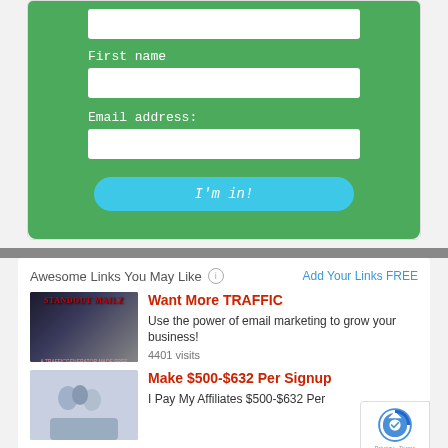First name
Email address:
I'm in!
Awesome Links You May Like
Add Your Links FREE
Want More TRAFFIC
Use the power of email marketing to grow your business!
4401 visits
Make $500-$632 Per Signup
I Pay My Affiliates $500-$632 Per